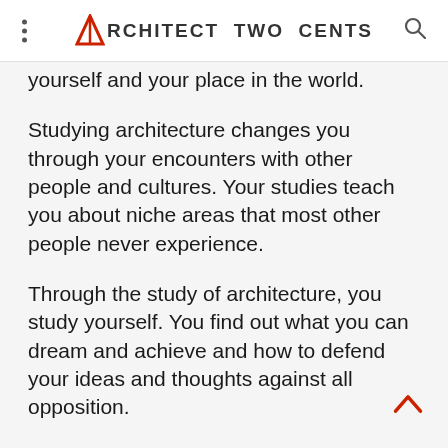ARCHITECT TWO CENTS
yourself and your place in the world.
Studying architecture changes you through your encounters with other people and cultures. Your studies teach you about niche areas that most other people never experience.
Through the study of architecture, you study yourself. You find out what you can dream and achieve and how to defend your ideas and thoughts against all opposition.
Architecture is the foundation of most faiths and philosophical thought through ancient times and